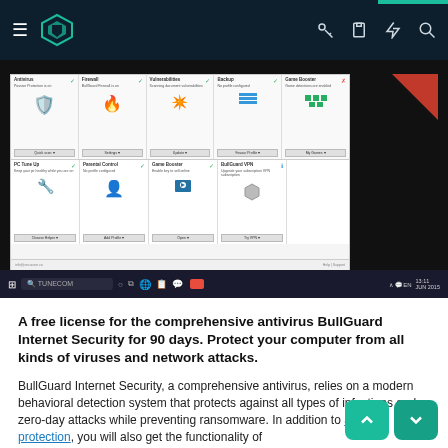Navigation bar with hamburger menu, BullGuard logo, and icons for key, clipboard, lightning, search
[Figure (screenshot): BullGuard Internet Security dashboard showing a grid of security modules: Antivirus, Firewall, Vulnerability Scanner, Backup, Game Booster, PC Tune Up, Parental Control, Game Booster, BullGuard VPN. Each module has an icon, status text, and action button. Windows taskbar visible at bottom.]
A free license for the comprehensive antivirus BullGuard Internet Security for 90 days. Protect your computer from all kinds of viruses and network attacks.
BullGuard Internet Security, a comprehensive antivirus, relies on a modern behavioral detection system that protects against all types of infections and zero-day attacks while preventing ransomware. In addition to antivirus protection, you will also get the functionality of